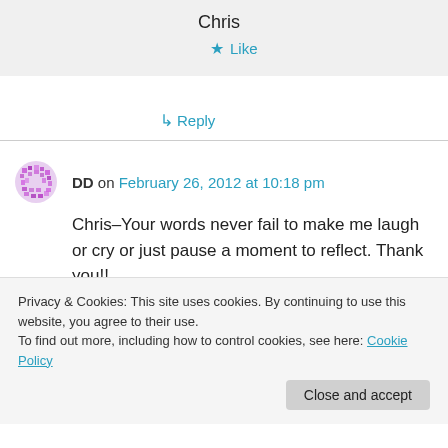Chris
★ Like
↳ Reply
DD on February 26, 2012 at 10:18 pm
Chris–Your words never fail to make me laugh or cry or just pause a moment to reflect. Thank you!!
Privacy & Cookies: This site uses cookies. By continuing to use this website, you agree to their use.
To find out more, including how to control cookies, see here: Cookie Policy
Close and accept